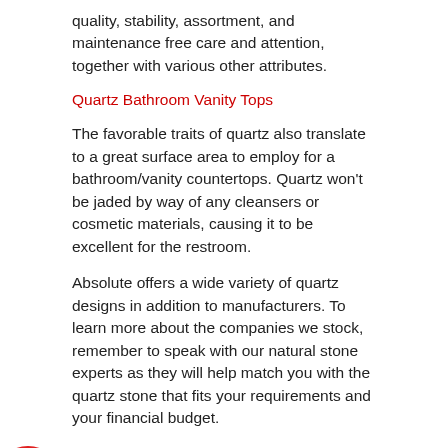quality, stability, assortment, and maintenance free care and attention, together with various other attributes.
Quartz Bathroom Vanity Tops
The favorable traits of quartz also translate to a great surface area to employ for a bathroom/vanity countertops. Quartz won't be jaded by way of any cleansers or cosmetic materials, causing it to be excellent for the restroom.
Absolute offers a wide variety of quartz designs in addition to manufacturers. To learn more about the companies we stock, remember to speak with our natural stone experts as they will help match you with the quartz stone that fits your requirements and your financial budget.
need Wilsonart Quartz Fabricators service in ouse Point, we can help you. Email us today for more information.